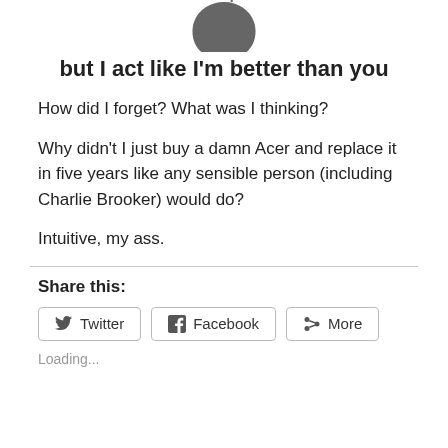[Figure (logo): Apple logo (dark gray, partially cropped at top)]
but I act like I'm better than you
How did I forget? What was I thinking?
Why didn't I just buy a damn Acer and replace it in five years like any sensible person (including Charlie Brooker) would do?
Intuitive, my ass.
Share this:
Twitter   Facebook   More
Loading...